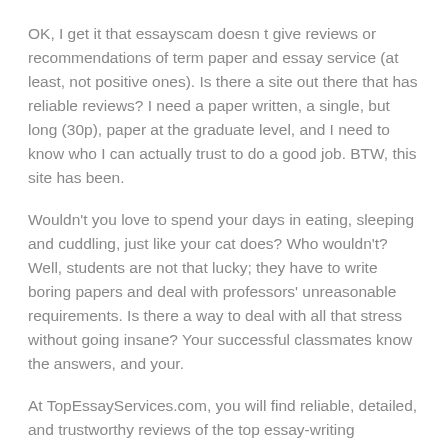OK, I get it that essayscam doesn t give reviews or recommendations of term paper and essay service (at least, not positive ones). Is there a site out there that has reliable reviews? I need a paper written, a single, but long (30p), paper at the graduate level, and I need to know who I can actually trust to do a good job. BTW, this site has been.
Wouldn't you love to spend your days in eating, sleeping and cuddling, just like your cat does? Who wouldn't? Well, students are not that lucky; they have to write boring papers and deal with professors' unreasonable requirements. Is there a way to deal with all that stress without going insane? Your successful classmates know the answers, and your.
At TopEssayServices.com, you will find reliable, detailed, and trustworthy reviews of the top essay-writing services. Due to the great number of disreputable writing services available today, it is difficult to choose one that will meet your expectations. That's why we do our best to provide updated information about the quality, prices.